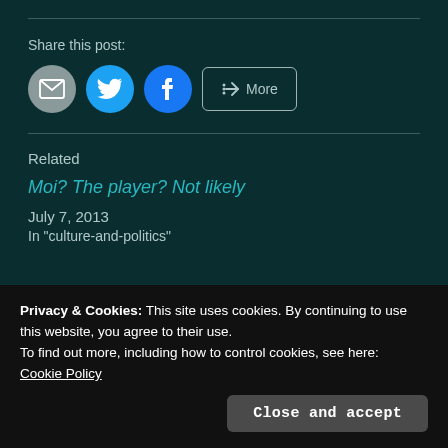Share this post:
[Figure (infographic): Share buttons: email (grey circle), Twitter (blue circle with bird icon), Facebook (blue circle with f icon), and a More button with share icon]
Related
Moi? The player? Not likely
July 7, 2013
In "culture-and-politics"
Privacy & Cookies: This site uses cookies. By continuing to use this website, you agree to their use.
To find out more, including how to control cookies, see here:
Cookie Policy